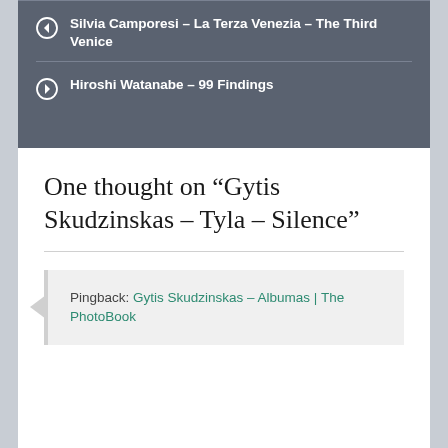Silvia Camporesi – La Terza Venezia – The Third Venice
Hiroshi Watanabe – 99 Findings
One thought on “Gytis Skudzinskas – Tyla – Silence”
Pingback: Gytis Skudzinskas – Albumas | The PhotoBook